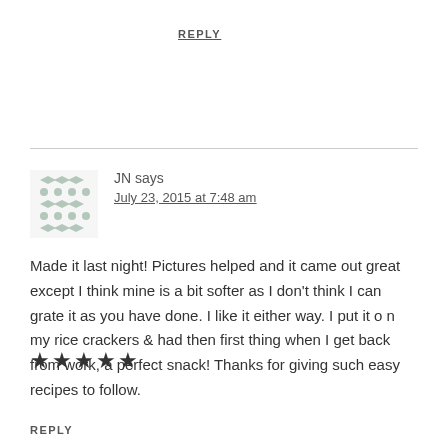REPLY
JN says
July 23, 2015 at 7:48 am
Made it last night! Pictures helped and it came out great except I think mine is a bit softer as I don't think I can grate it as you have done. I like it either way. I put it o n my rice crackers & had then first thing when I get back from work, a perfect snack! Thanks for giving such easy recipes to follow.
[Figure (other): Five filled star rating icons]
REPLY